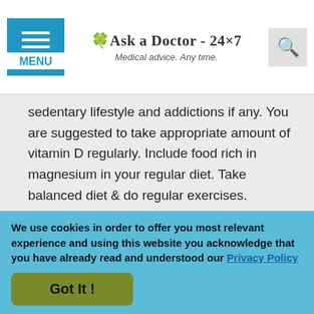Ask a Doctor - 24x7 | Medical advice. Any time. | MENU
sedentary lifestyle and addictions if any. You are suggested to take appropriate amount of vitamin D regularly. Include food rich in magnesium in your regular diet. Take balanced diet & do regular exercises.
You are also experiencing numbness and tingling, it is indicative of nerve impingement, compression or developing neuropathy. Take food rich in vitamin B12. You also have knots in the bottom of your foot. It commonly occurs due to small tears in your plantar fascia due to injury or trauma. They can also be caused
We use cookies in order to offer you most relevant experience and using this website you acknowledge that you have already read and understood our Privacy Policy
Got It !